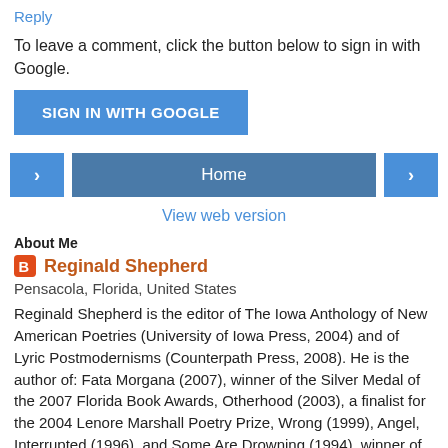Reply
To leave a comment, click the button below to sign in with Google.
[Figure (screenshot): Blue 'SIGN IN WITH GOOGLE' button]
[Figure (screenshot): Navigation row with left arrow, Home button, and right arrow]
View web version
About Me
Reginald Shepherd
Pensacola, Florida, United States
Reginald Shepherd is the editor of The Iowa Anthology of New American Poetries (University of Iowa Press, 2004) and of Lyric Postmodernisms (Counterpath Press, 2008). He is the author of: Fata Morgana (2007), winner of the Silver Medal of the 2007 Florida Book Awards, Otherhood (2003), a finalist for the 2004 Lenore Marshall Poetry Prize, Wrong (1999), Angel, Interrupted (1996), and Some Are Drowning (1994), winner of the 1993 Associated Writing